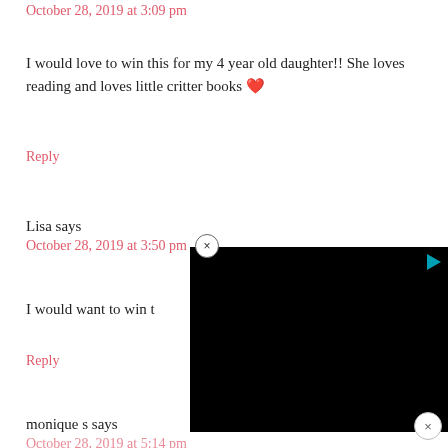October 28, 2019 at 3:09 pm
I would love to win this for my 4 year old daughter!! She loves reading and loves little critter books ❤️
Reply
Lisa says
October 28, 2019 at 3:50 pm
I would want to win t...
Reply
monique s says
October 28, 2019 at 5:14 pm
[Figure (other): Black video ad overlay with play button and close button]